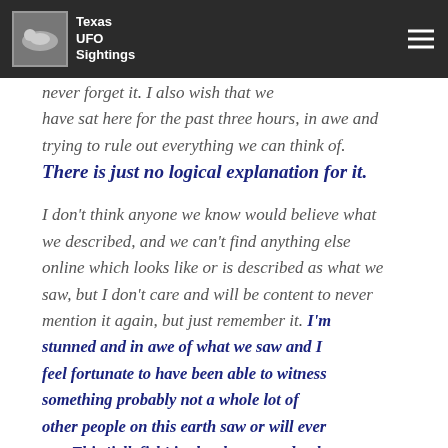Texas UFO Sightings
never forget it. I also wish that we have sat here for the past three hours, in awe and trying to rule out everything we can think of. There is just no logical explanation for it.
I don't think anyone we know would believe what we described, and we can't find anything else online which looks like or is described as what we saw, but I don't care and will be content to never mention it again, but just remember it. I'm stunned and in awe of what we saw and I feel fortunate to have been able to witness something probably not a whole lot of other people on this earth saw or will ever see. This 'jellyfish' in the sky, seemed to be